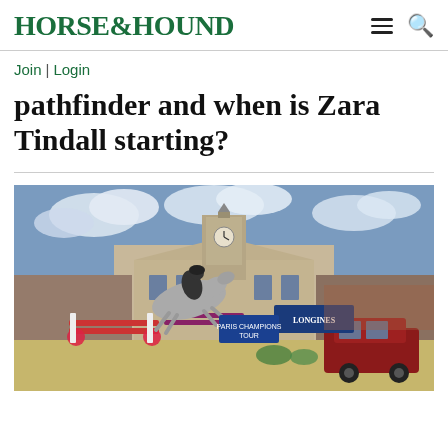HORSE&HOUND
Join | Login
pathfinder and when is Zara Tindall starting?
[Figure (photo): A horse and rider jumping over a decorated fence at an equestrian event. A grand classical building with a clock tower is visible in the background. A red SUV and Longines branding are visible. The event appears to be a Global Champions Tour show jumping competition.]